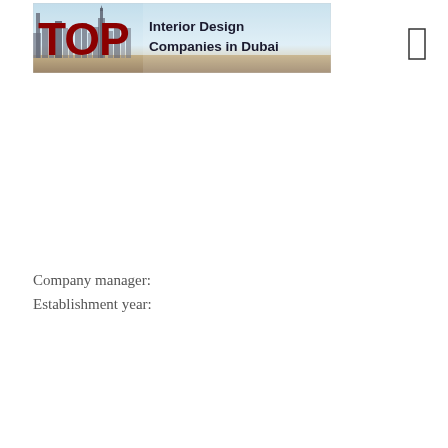[Figure (illustration): Banner image showing 'TOP Interior Design Companies in Dubai' with a city skyline background in Dubai. 'TOP' in large dark red bold letters on the left, followed by 'Interior Design Companies in Dubai' in dark text on the right.]
[Figure (other): A small empty rectangle/checkbox outline on the right side of the page header area.]
Company manager:
Establishment year: